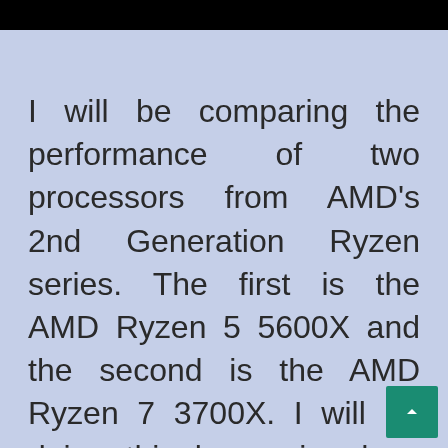I will be comparing the performance of two processors from AMD's 2nd Generation Ryzen series. The first is the AMD Ryzen 5 5600X and the second is the AMD Ryzen 7 3700X. I will be doing this by seeing how they perform in CPU-bound tasks, rendering benchmarks, gaming benchmarks, and